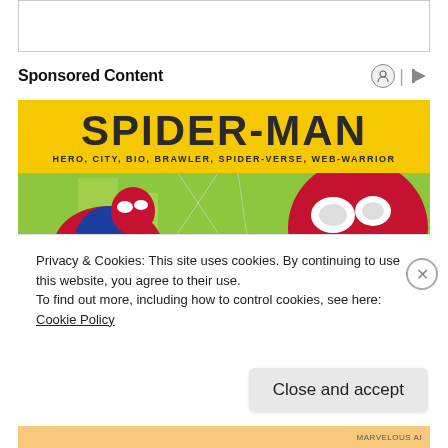[Figure (other): Empty white box at top of page]
Sponsored Content
[Figure (illustration): Spider-Man promotional banner with yellow background, large text reading SPIDER-MAN, subtitle HERO, CITY, BIO, BRAWLER, SPIDER-VERSE, WEB-WARRIOR, and illustrated Spider-Man characters below]
Privacy & Cookies: This site uses cookies. By continuing to use this website, you agree to their use.
To find out more, including how to control cookies, see here: Cookie Policy
Close and accept